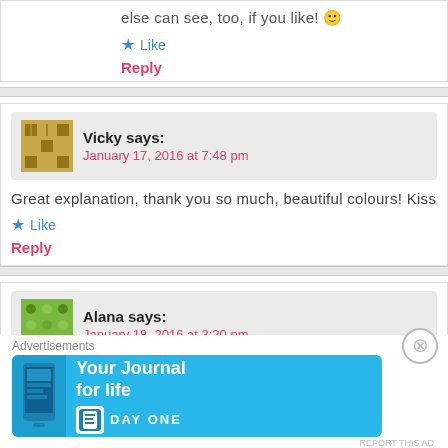else can see, too, if you like! 🙂
★ Like
Reply
Vicky says: January 17, 2016 at 7:48 pm
Great explanation, thank you so much, beautiful colours! Kiss
★ Like
Reply
Alana says: January 18, 2016 at 3:20 pm
Advertisements
[Figure (screenshot): Day One app advertisement banner with text 'Your Journal for life' and DAY ONE logo on blue background]